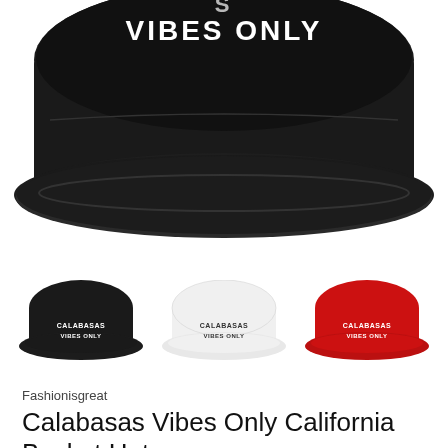[Figure (photo): Close-up of a black bucket hat with 'CALABASAS VIBES ONLY' text embroidered in white on the front panel, showing the brim prominently]
[Figure (photo): Three smaller bucket hats shown side by side: black hat with 'CALABASAS VIBES ONLY' in white text, white hat with 'CALABASAS VIBES ONLY' in dark text, and red hat with 'CALABASAS VIBES ONLY' in white text]
Fashionisgreat
Calabasas Vibes Only California Bucket Hat